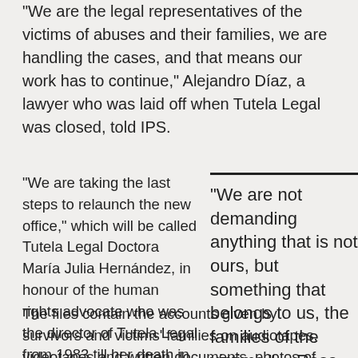“We are the legal representatives of the victims of abuses and their families, we are handling the cases, and that means our work has to continue,” Alejandro Díaz, a lawyer who was laid off when Tutela Legal was closed, told IPS.
“We are taking the last steps to relaunch the new office,” which will be called Tutela Legal Doctora María Julia Hernández, in honour of the human rights advocate who was the director of Tutela Legal from 1983 till her death in 2007, Díaz said.
“We are not demanding anything that is not ours, but something that belongs to us, the families of the victims.” -- Rosa Rivera
The files contain the accounts given by survivors and victims’ families on audiotapes, videotapes and written documents, photos of victims and